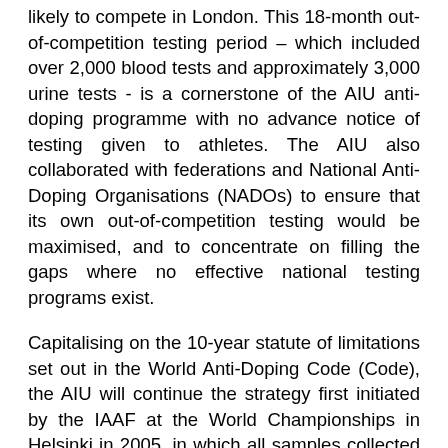likely to compete in London. This 18-month out-of-competition testing period – which included over 2,000 blood tests and approximately 3,000 urine tests - is a cornerstone of the AIU anti-doping programme with no advance notice of testing given to athletes. The AIU also collaborated with federations and National Anti-Doping Organisations (NADOs) to ensure that its own out-of-competition testing would be maximised, and to concentrate on filling the gaps where no effective national testing programs exist.
Capitalising on the 10-year statute of limitations set out in the World Anti-Doping Code (Code), the AIU will continue the strategy first initiated by the IAAF at the World Championships in Helsinki in 2005, in which all samples collected at the event will be transferred to, and stored in, a dedicated and secure facility for the purpose of re-testing at a later date